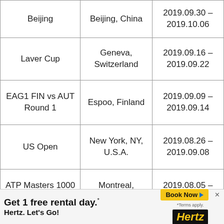| Beijing | Beijing, China | 2019.09.30 –
2019.10.06 |
| Laver Cup | Geneva,
Switzerland | 2019.09.16 –
2019.09.22 |
| EAG1 FIN vs AUT
Round 1 | Espoo, Finland | 2019.09.09 –
2019.09.14 |
| US Open | New York, NY,
U.S.A. | 2019.08.26 –
2019.09.08 |
| ATP Masters 1000
Canada | Montreal,
Canada | 2019.08.05 –
2019.08.11 |
| Kitzbühel | Kitzbuhel,
Austria | 2019.07.29 –
2019.08.03 |
[Figure (infographic): Hertz advertisement banner: 'Get 1 free rental day.* Hertz. Let's Go!' with Book Now button and Hertz logo]